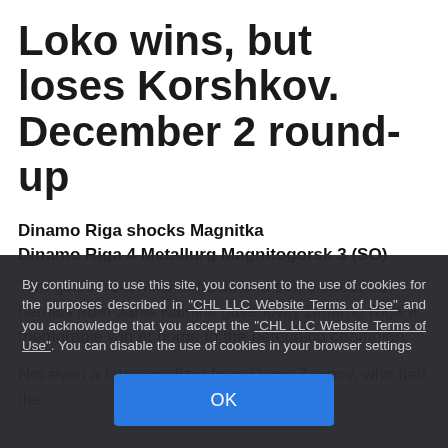Loko wins, but loses Korshkov. December 2 round-up
Dinamo Riga shocks Magnitka
Dinamo Riga 4 Metallurg Magnitogorsk 3 (SO)
Two goals from Miks Indrasis and some shoot-out heroics from Janis Kalnins gave lowly Dinamo Riga a memorable win at home to the defending champion.
Not even a late equalizer from Danis Zaripov, who tied the score at 3-3 at 58:17, could deny the Latvians, who had fought…
By continuing to use this site, you consent to the use of cookies for the purposes described in "CHL LLC Website Terms of Use" and you acknowledge that you accept the "CHL LLC Website Terms of Use". You can disable the use of cookies in your browser settings